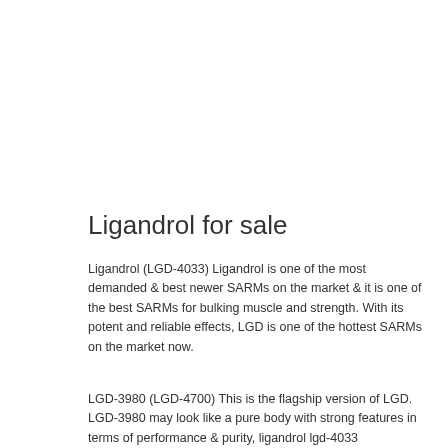Ligandrol for sale
Ligandrol (LGD-4033) Ligandrol is one of the most demanded & best newer SARMs on the market & it is one of the best SARMs for bulking muscle and strength. With its potent and reliable effects, LGD is one of the hottest SARMs on the market now.
LGD-3980 (LGD-4700) This is the flagship version of LGD. LGD-3980 may look like a pure body with strong features in terms of performance & purity, ligandrol lgd-4033